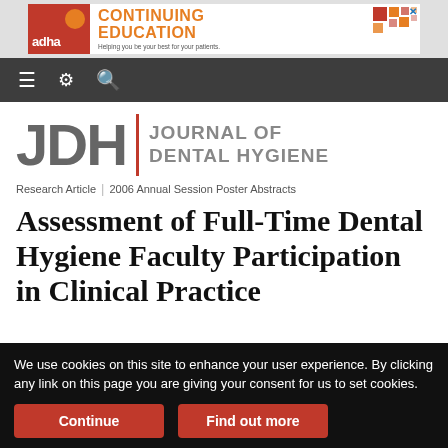[Figure (screenshot): ADHA Continuing Education advertisement banner with orange and red branding: logo on left with 'adha' text, large orange 'CONTINUING EDUCATION' heading, subtext 'Helping you be your best for your patients.', decorative red/orange mosaic icon on right.]
≡ ⚙ 🔍 (navigation bar with hamburger menu, settings gear, and search icons)
[Figure (logo): JDH Journal of Dental Hygiene logo: large grey 'JDH' letters, red vertical divider, 'JOURNAL OF DENTAL HYGIENE' text in grey]
Research Article | 2006 Annual Session Poster Abstracts
Assessment of Full-Time Dental Hygiene Faculty Participation in Clinical Practice
We use cookies on this site to enhance your user experience. By clicking any link on this page you are giving your consent for us to set cookies.
Continue | Find out more